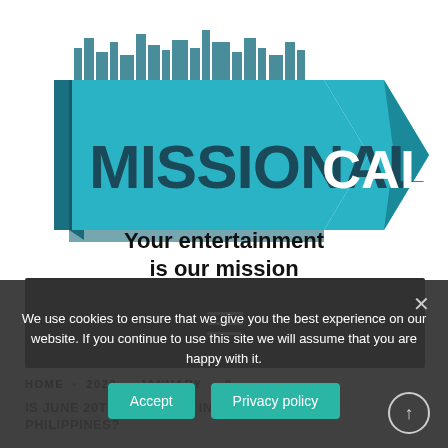[Figure (logo): Missional Call logo - teal 3D arrow pointing right with city skyline silhouette on top. Large bold text 'MISSIONAL' in dark teal and 'CALL' in white. Below the arrow: 'Your entertainment is our mission' in bold black text.]
[Figure (other): Dark grey navigation bar with hamburger menu icon (three horizontal white lines)]
HOME  2020  JANUARY  9
IS JUNE 20TH A HOLIDAY IN THE PHILIPPINES?
We use cookies to ensure that we give you the best experience on our website. If you continue to use this site we will assume that you are happy with it.
Accept  Privacy policy